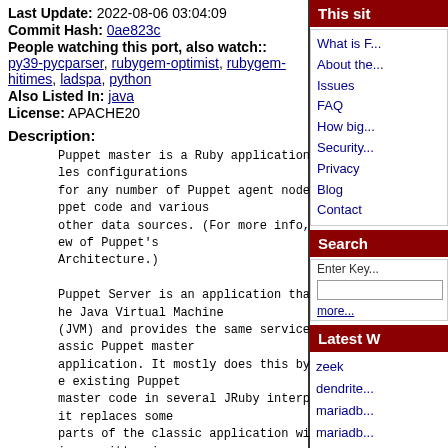Last Update: 2022-08-06 03:04:09
Commit Hash: 0ae823c
People watching this port, also watch:: py39-pycparser, rubygem-optimist, rubygem-hitimes, ladspa, python
Also Listed In: java
License: APACHE20
Description:
Puppet master is a Ruby application that compiles configurations
for any number of Puppet agent nodes, using Puppet code and various
other data sources. (For more info, see Overview of Puppet's
Architecture.)

Puppet Server is an application that runs on the Java Virtual Machine
(JVM) and provides the same services as the classic Puppet master
application. It mostly does this by running the existing Puppet
master code in several JRuby interpreters, but it replaces some
parts of the classic application with new services written in
Clojure.
WWW: https://docs.puppetlabs.com/puppetserver/latest/services_master_puppetserver.html
SVNWeb: ...
[Figure (other): Sidebar with navigation links: This site, What is F..., About the..., Issues, FAQ, How big..., Security..., Privacy, Blog, Contact; Search section with Enter Key... input and more... link; Latest W... section with zeek, dendrite..., mariadb..., mariadb... links]